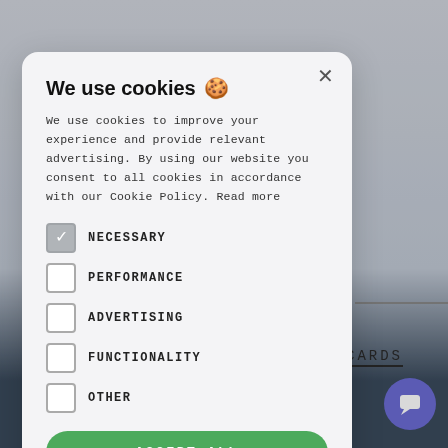[Figure (screenshot): Website background with dark blue footer and gray content area, partially visible behind cookie consent modal]
CARDS
We use cookies 🍪
We use cookies to improve your experience and provide relevant advertising. By using our website you consent to all cookies in accordance with our Cookie Policy. Read more
NECESSARY (checked)
PERFORMANCE
ADVERTISING
FUNCTIONALITY
OTHER
ACCEPT ALL